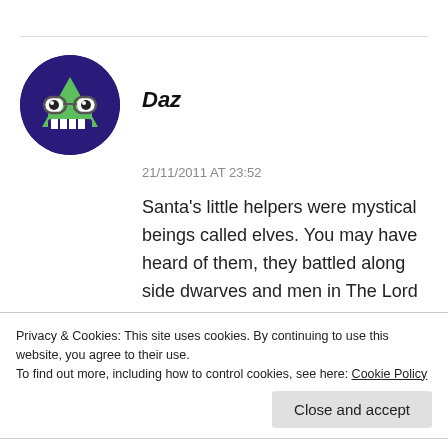[Figure (illustration): Circular avatar with dark navy/purple background showing a cartoon character: a green triangular creature with googly eyes and a toothy grin, resembling a monster or alien.]
Daz
21/11/2011 AT 23:52
Santa’s little helpers were mystical beings called elves. You may have heard of them, they battled along side dwarves and men in The Lord of the Rings. The Keebler tribe of elves bake delicious cookies also, I recommend the fudge striped shortbread
Privacy & Cookies: This site uses cookies. By continuing to use this website, you agree to their use.
To find out more, including how to control cookies, see here: Cookie Policy
Close and accept
fame). How do you know when you are